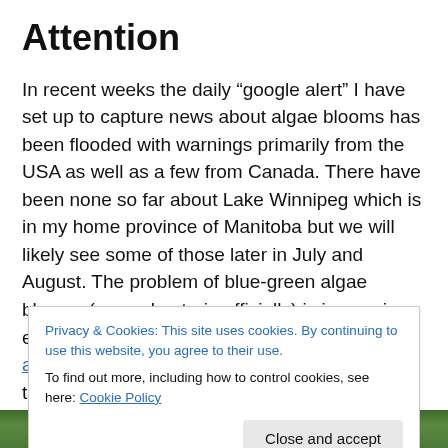Attention
In recent weeks the daily “google alert” I have set up to capture news about algae blooms has been flooded with warnings primarily from the USA as well as a few from Canada. There have been none so far about Lake Winnipeg which is in my home province of Manitoba but we will likely see some of those later in July and August. The problem of blue-green algae blooms ( cyanobacteria officially) is increasing each year it seems and this year Florida actually declared a state of emergency due to the
Privacy & Cookies: This site uses cookies. By continuing to use this website, you agree to their use.
To find out more, including how to control cookies, see here: Cookie Policy
[Figure (photo): Green foliage/trees photo strip at bottom of page]